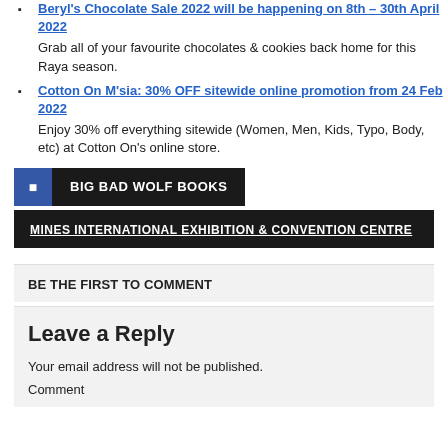Beryl's Chocolate Sale 2022 will be happening on 8th – 30th April 2022. Grab all of your favourite chocolates & cookies back home for this Raya season.
Cotton On M'sia: 30% OFF sitewide online promotion from 24 Feb 2022. Enjoy 30% off everything sitewide (Women, Men, Kids, Typo, Body, etc) at Cotton On's online store.
BIG BAD WOLF BOOKS
MINES INTERNATIONAL EXHIBITION & CONVENTION CENTRE
BE THE FIRST TO COMMENT
Leave a Reply
Your email address will not be published.
Comment